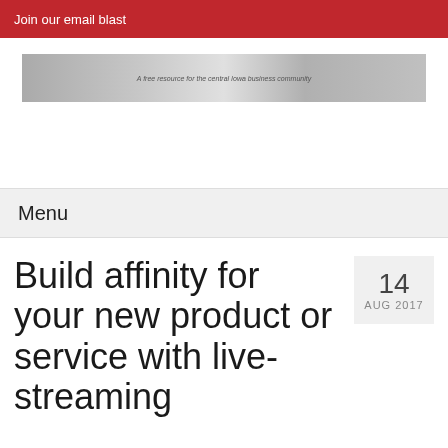Join our email blast
[Figure (illustration): Website banner image with grey gradient background and tagline text: A free resource for the central Iowa business community]
Menu
Build affinity for your new product or service with live-streaming
14 AUG 2017